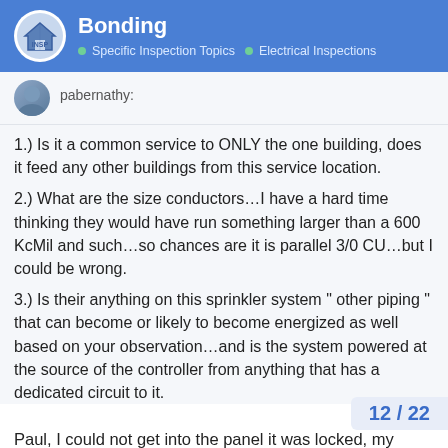Bonding — Specific Inspection Topics > Electrical Inspections
pabernathy:
1.) Is it a common service to ONLY the one building, does it feed any other buildings from this service location.
2.) What are the size conductors…I have a hard time thinking they would have run something larger than a 600 KcMil and such…so chances are it is parallel 3/0 CU…but I could be wrong.
3.) Is their anything on this sprinkler system " other piping " that can become or likely to become energized as well based on your observation…and is the system powered at the source of the controller from anything that has a dedicated circuit to it.
Paul, I could not get into the panel it was locked, my electrician will not be back till tomorrow. (with bolt cutters)
This is just a free standing woodworking sh phase four wire.
12 / 22